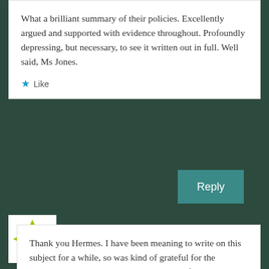What a brilliant summary of their policies. Excellently argued and supported with evidence throughout. Profoundly depressing, but necessary, to see it written out in full. Well said, Ms Jones.
★ Like
Reply
kittysjones says:
July 26, 2014 at 5:31 pm
Thank you Hermes. I have been meaning to write on this subject for a while, so was kind of grateful for the prompt…until I was into the task. Yes, profoundly